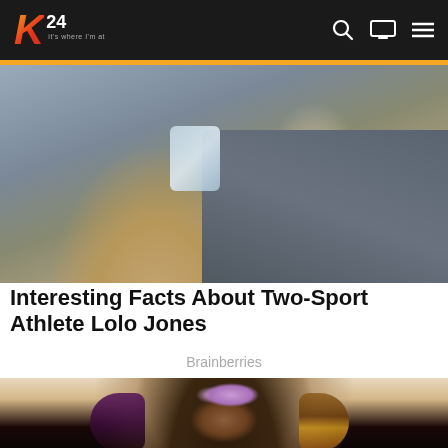[Figure (screenshot): K24 TV website navigation bar with logo, search icon, screen icon, and hamburger menu on dark background with gold bar]
[Figure (photo): Woman in athletic wear sitting on dark couch holding a phone, athletic build, blonde hair, indoor setting]
Interesting Facts About Two-Sport Athlete Lolo Jones
Brainberries
[Figure (photo): Young Black woman with purple flower hair accessory and highlighted purple and brown hair, looking at camera]